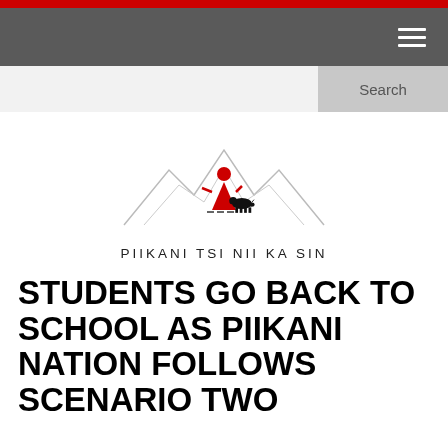[Figure (logo): Piikani Tsi Nii Ka Sin logo: stylized red triangle figure with red circle above it, standing on mountains outline, with a black bison silhouette. Text below reads PIIKANI TSI NII KA SIN]
STUDENTS GO BACK TO SCHOOL AS PIIKANI NATION FOLLOWS SCENARIO TWO GUIDELINES